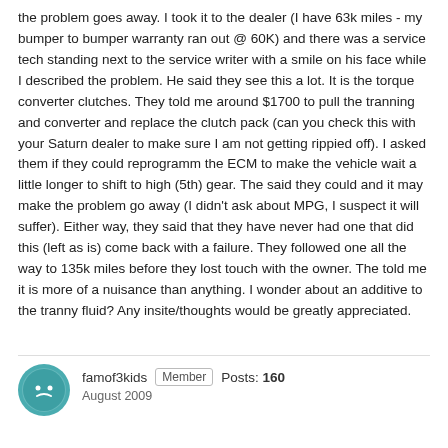the problem goes away. I took it to the dealer (I have 63k miles - my bumper to bumper warranty ran out @ 60K) and there was a service tech standing next to the service writer with a smile on his face while I described the problem. He said they see this a lot. It is the torque converter clutches. They told me around $1700 to pull the tranning and converter and replace the clutch pack (can you check this with your Saturn dealer to make sure I am not getting rippied off). I asked them if they could reprogramm the ECM to make the vehicle wait a little longer to shift to high (5th) gear. The said they could and it may make the problem go away (I didn't ask about MPG, I suspect it will suffer). Either way, they said that they have never had one that did this (left as is) come back with a failure. They followed one all the way to 135k miles before they lost touch with the owner. The told me it is more of a nuisance than anything. I wonder about an additive to the tranny fluid? Any insite/thoughts would be greatly appreciated.
famof3kids  Member  Posts: 160
August 2009